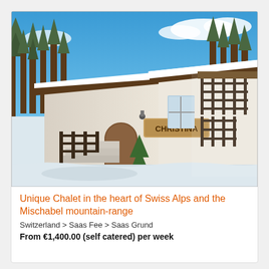[Figure (photo): A white alpine chalet named 'Christina' covered in snow with dark wooden balcony railings and stairs, surrounded by snow-covered ground and pine trees in bright winter sunlight (Swiss Alps).]
Unique Chalet in the heart of Swiss Alps and the Mischabel mountain-range
Switzerland > Saas Fee > Saas Grund
From €1,400.00 (self catered) per week